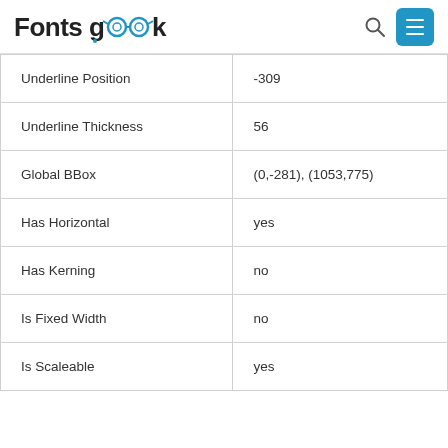Fonts Geek
| Underline Position | -309 |
| Underline Thickness | 56 |
| Global BBox | (0,-281), (1053,775) |
| Has Horizontal | yes |
| Has Kerning | no |
| Is Fixed Width | no |
| Is Scaleable | yes |